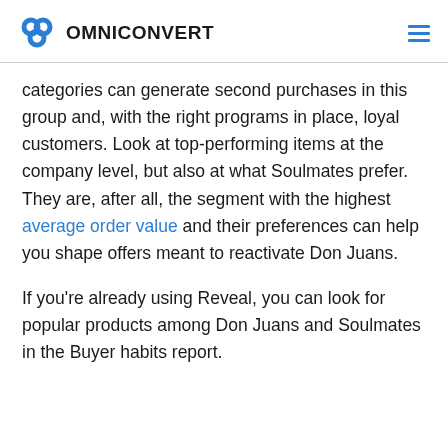OMNICONVERT
categories can generate second purchases in this group and, with the right programs in place, loyal customers. Look at top-performing items at the company level, but also at what Soulmates prefer. They are, after all, the segment with the highest average order value and their preferences can help you shape offers meant to reactivate Don Juans.
If you’re already using Reveal, you can look for popular products among Don Juans and Soulmates in the Buyer habits report.